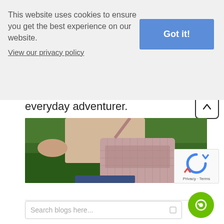This website uses cookies to ensure you get the best experience on our website.
View our privacy policy
Got it!
everyday adventurer.
[Figure (photo): Person wearing a pink/mauve quilted crossbody bag standing in a green grassy field, holding flowers]
17/03/2022
Search blogs here...